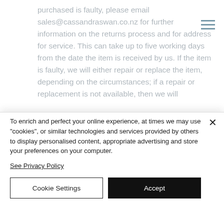purchased is faulty, please email sales@cassandraswan.co.nz for further information on the returns process and for address for service. This can take up to five working days from the date the item is received by us. If the item is faulty, we will either repair or replace the item, depending on the circumstances; if a repair or replacement is not available, then we will
To enrich and perfect your online experience, at times we may use "cookies", or similar technologies and services provided by others to display personalised content, appropriate advertising and store your preferences on your computer.
See Privacy Policy
Cookie Settings
Accept